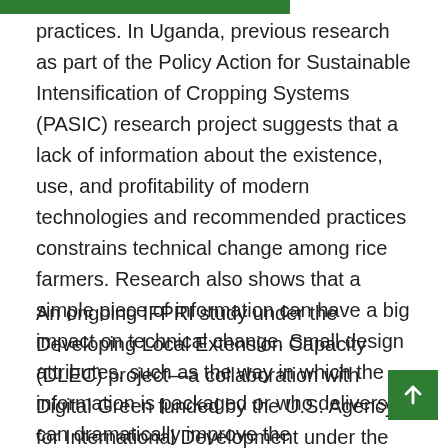practices. In Uganda, previous research as part of the Policy Action for Sustainable Intensification of Cropping Systems (PASIC) research project suggests that a lack of information about the existence, use, and profitability of modern technologies and recommended practices constrains technical change among rice farmers. Research also shows that a simple piece of information can have a big impact on technical change. Small design attributes, such as the way in which the information is packaged or who delivers it, can dramatically improve the effectiveness of an information campaign.
An ongoing IFPRI study under the Developing Local Extension Capacity (DLEC) project—a collaboration with Digital Green funded by the U.S. Agency for International Development under the Feed the Future Initiative—looks at